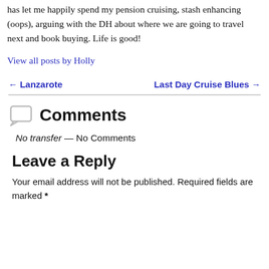has let me happily spend my pension cruising, stash enhancing (oops), arguing with the DH about where we are going to travel next and book buying. Life is good!
View all posts by Holly
← Lanzarote
Last Day Cruise Blues →
Comments
No transfer — No Comments
Leave a Reply
Your email address will not be published. Required fields are marked *